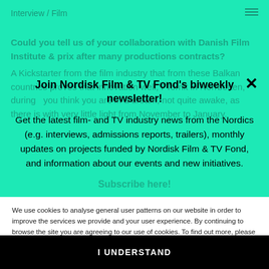Interview / Film
Could you tell us of your collaboration with Danish Film Institute & prix after many productions contracts?
A Kickstarter from the film industry that from these Balkan countries proves that innovation well, I Tornit in Norrbotten, during you think you are in a dream, not quite awake, as there is with very little light from November to January.
Join Nordisk Film & TV Fond's biweekly newsletter!
Get the latest film- and TV industry news from the Nordics (e.g. interviews, admissions reports, trailers), monthly updates on projects funded by Nordisk Film & TV Fond, and information about our events and new initiatives.
Subscribe here!
We use cookies to analyse general user patterns on our website in order to improve the services we provide and your user experience. By continuing to browse the site you are agreeing to our use of cookies. To find out more, please read our Privacy Statement.
I UNDERSTAND